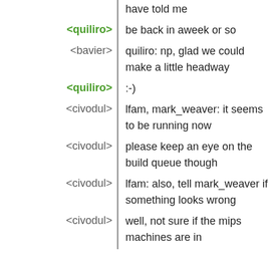have told me
<quiliro> be back in aweek or so
<bavier> quiliro: np, glad we could make a little headway
<quiliro> :-)
<civodul> lfam, mark_weaver: it seems to be running now
<civodul> please keep an eye on the build queue though
<civodul> lfam: also, tell mark_weaver if something looks wrong
<civodul> well, not sure if the mips machines are in